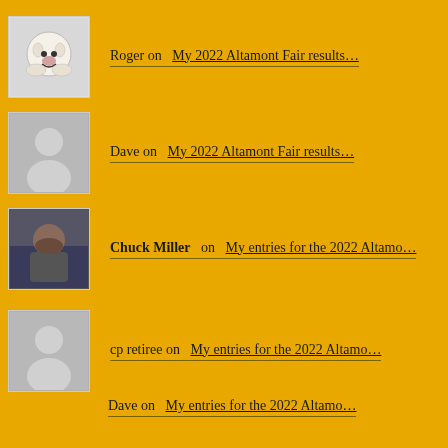Roger on  My 2022 Altamont Fair results…
Dave on  My 2022 Altamont Fair results…
Chuck Miller  on  My entries for the 2022 Altamo…
cp retiree on  My entries for the 2022 Altamo…
Dave on  My entries for the 2022 Altamo…
SOCIAL
[Figure (infographic): Row of 5 social media icons: Facebook, Twitter, Instagram, YouTube, Flickr — each in a dark-yellow square button]